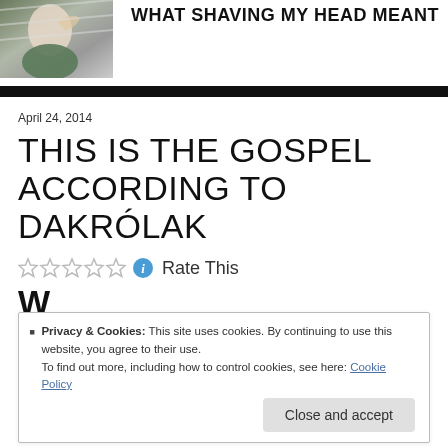[Figure (photo): Man with hand on head, wearing green hoodie, black and white plastic in background]
WHAT SHAVING MY HEAD MEANT
April 24, 2014
THIS IS THE GOSPEL ACCORDING TO DAKRÓLAK
Rate This
Privacy & Cookies: This site uses cookies. By continuing to use this website, you agree to their use.
To find out more, including how to control cookies, see here: Cookie Policy
Close and accept